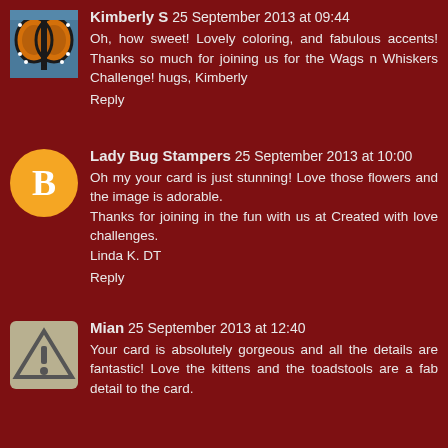[Figure (photo): Kimberly S avatar - monarch butterfly pixel art image]
Kimberly S 25 September 2013 at 09:44
Oh, how sweet! Lovely coloring, and fabulous accents! Thanks so much for joining us for the Wags n Whiskers Challenge! hugs, Kimberly
Reply
[Figure (logo): Blogger B orange circle logo avatar]
Lady Bug Stampers 25 September 2013 at 10:00
Oh my your card is just stunning! Love those flowers and the image is adorable.
Thanks for joining in the fun with us at Created with love challenges.
Linda K. DT
Reply
[Figure (illustration): Warning triangle with exclamation mark - grey/beige avatar]
Mian 25 September 2013 at 12:40
Your card is absolutely gorgeous and all the details are fantastic! Love the kittens and the toadstools are a fab detail to the card.